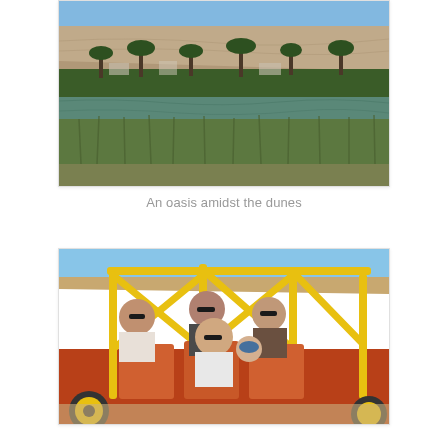[Figure (photo): A desert oasis scene with a large sand dune in the background, palm trees and buildings in the middle ground, and a water body with green reeds in the foreground.]
An oasis amidst the dunes
[Figure (photo): A group of people sitting in a yellow and red dune buggy on a sandy desert. Several adults and a child wearing sunglasses and goggles are visible, smiling at the camera.]